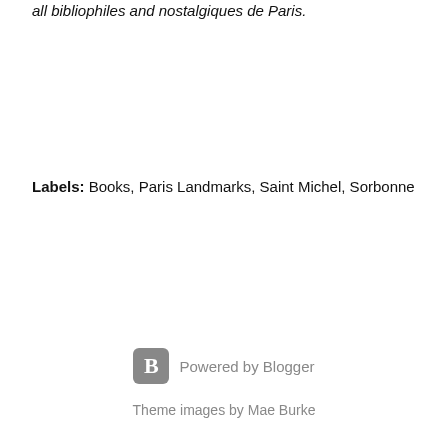all bibliophiles and nostalgiques de Paris.
Labels: Books, Paris Landmarks, Saint Michel, Sorbonne
Powered by Blogger
Theme images by Mae Burke